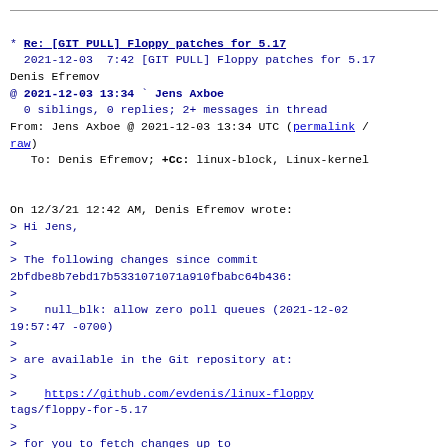* Re: [GIT PULL] Floppy patches for 5.17
  2021-12-03  7:42 [GIT PULL] Floppy patches for 5.17
Denis Efremov
@ 2021-12-03 13:34 ` Jens Axboe
  0 siblings, 0 replies; 2+ messages in thread
From: Jens Axboe @ 2021-12-03 13:34 UTC (permalink / raw)
   To: Denis Efremov; +Cc: linux-block, Linux-kernel

On 12/3/21 12:42 AM, Denis Efremov wrote:
> Hi Jens,
>
> The following changes since commit
2bfdbe8b7ebd17b5331071071a910fbabc64b436:
>
>    null_blk: allow zero poll queues (2021-12-02
19:57:47 -0700)
>
> are available in the Git repository at:
>
>    https://github.com/evdenis/linux-floppy
tags/floppy-for-5.17
>
> for you to fetch changes up to
9fae059d4cd88229661b3eccb0409f723129e5bd:
>
>    floppy: Add max size check for user space request
(2021-12-03 09:54:34 +0300)